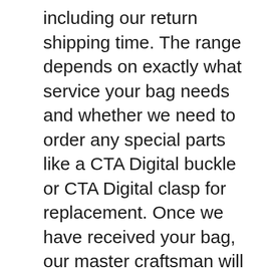including our return shipping time. The range depends on exactly what service your bag needs and whether we need to order any special parts like a CTA Digital buckle or CTA Digital clasp for replacement. Once we have received your bag, our master craftsman will do a complete inspection and share the details with you.